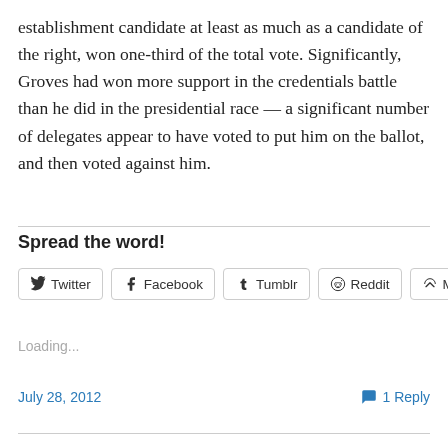establishment candidate at least as much as a candidate of the right, won one-third of the total vote. Significantly, Groves had won more support in the credentials battle than he did in the presidential race — a significant number of delegates appear to have voted to put him on the ballot, and then voted against him.
Spread the word!
[Figure (other): Social share buttons: Twitter, Facebook, Tumblr, Reddit, More]
Loading...
July 28, 2012   1 Reply